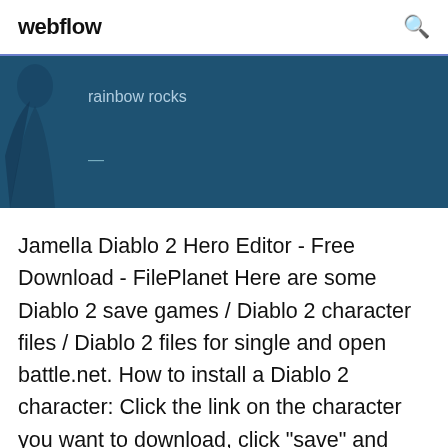webflow
[Figure (screenshot): Dark blue banner with partial figure on left and 'rainbow rocks' text and a dash on the right]
Jamella Diablo 2 Hero Editor - Free Download - FilePlanet Here are some Diablo 2 save games / Diablo 2 character files / Diablo 2 files for single and open battle.net. How to install a Diablo 2 character: Click the link on the character you want to download, click "save" and save it on your desktop or somewhere where you can find it.